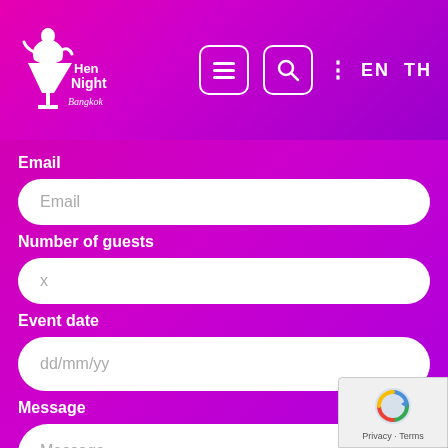[Figure (logo): Hen Night Bangkok logo — cocktail glass with woman silhouette, white text on pink/purple gradient header, with navigation icons (hamburger menu, search, dots), and language switcher EN TH]
Email
Email (input placeholder)
Number of guests
x (input placeholder)
Event date
dd/mm/yy (input placeholder)
Message
Message (input placeholder)